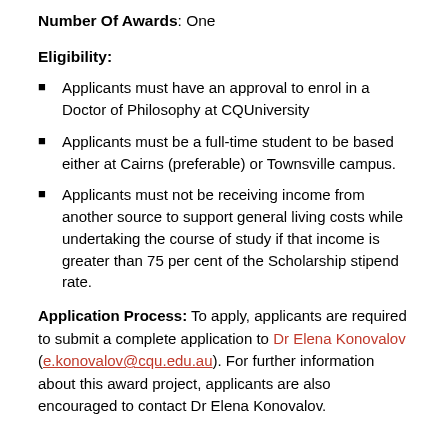Number Of Awards: One
Eligibility:
Applicants must have an approval to enrol in a Doctor of Philosophy at CQUniversity
Applicants must be a full-time student to be based either at Cairns (preferable) or Townsville campus.
Applicants must not be receiving income from another source to support general living costs while undertaking the course of study if that income is greater than 75 per cent of the Scholarship stipend rate.
Application Process: To apply, applicants are required to submit a complete application to Dr Elena Konovalov (e.konovalov@cqu.edu.au). For further information about this award project, applicants are also encouraged to contact Dr Elena Konovalov.